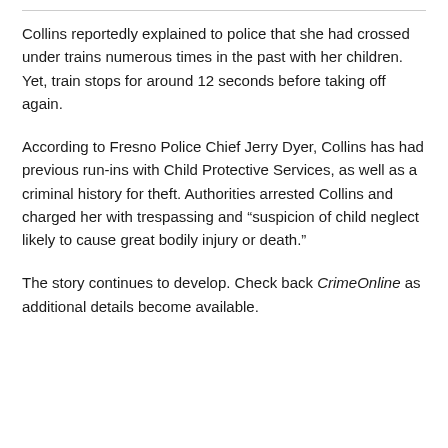Collins reportedly explained to police that she had crossed under trains numerous times in the past with her children. Yet, train stops for around 12 seconds before taking off again.
According to Fresno Police Chief Jerry Dyer, Collins has had previous run-ins with Child Protective Services, as well as a criminal history for theft. Authorities arrested Collins and charged her with trespassing and “suspicion of child neglect likely to cause great bodily injury or death.”
The story continues to develop. Check back CrimeOnline as additional details become available.